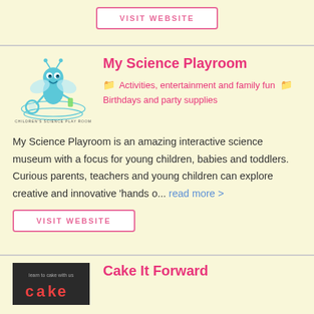[Figure (other): VISIT WEBSITE button at top of page]
[Figure (logo): My Science Playroom logo — cartoon blue firefly/bee with magnifying glass, circular text reading 'Children's Science Play Room']
My Science Playroom
Activities, entertainment and family fun  Birthdays and party supplies
My Science Playroom is an amazing interactive science museum with a focus for young children, babies and toddlers. Curious parents, teachers and young children can explore creative and innovative 'hands o... read more >
VISIT WEBSITE
[Figure (logo): Cake It Forward logo — dark background with colorful text]
Cake It Forward